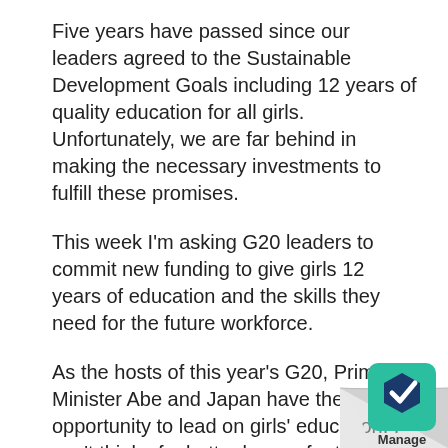Five years have passed since our leaders agreed to the Sustainable Development Goals including 12 years of quality education for all girls. Unfortunately, we are far behind in making the necessary investments to fulfill these promises.
This week I'm asking G20 leaders to commit new funding to give girls 12 years of education and the skills they need for the future workforce.
As the hosts of this year's G20, Prime Minister Abe and Japan have the opportunity to lead on girls' education. I can't think of a better legacy for this year's summit or a better gift for Japan to give the world.
Prime Minister Abe cannot do it alone. We need G20 heads of state, business leaders and advo... to join this fight.
[Figure (logo): Manage app icon — teal/green square with white chevron and dark blue hexagon shape, with 'Manage' label below. Overlaid on a page-curl effect in the bottom-right corner.]